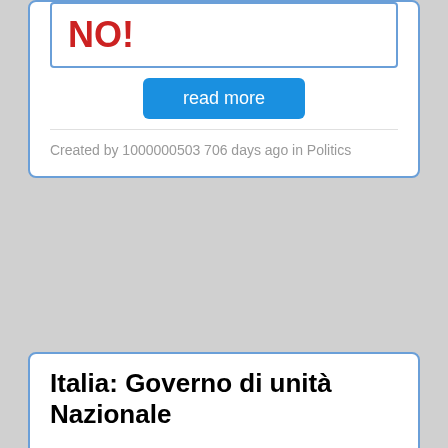[Figure (other): Top card showing NO! vote count (partially visible at top), a read more button, and metadata footer]
Created by 1000000503 706 days ago in Politics
Italia: Governo di unità Nazionale
[Figure (other): Vote box showing PRO with count 6]
[Figure (other): Vote box showing NO! with count 3]
read more